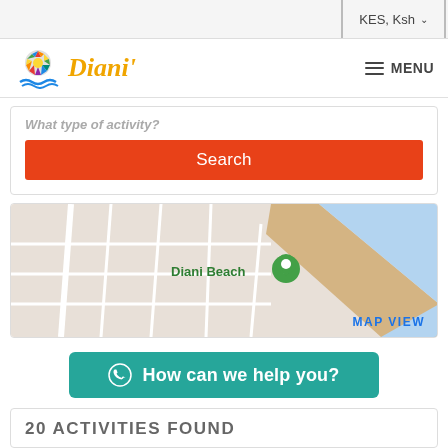KES, Ksh
[Figure (logo): Diani Beach logo with colorful sun/tree graphic and blue waves]
MENU
What type of activity?
Search
[Figure (map): Google Map showing Diani Beach location with green pin marker]
MAP VIEW
How can we help you?
20 ACTIVITIES FOUND